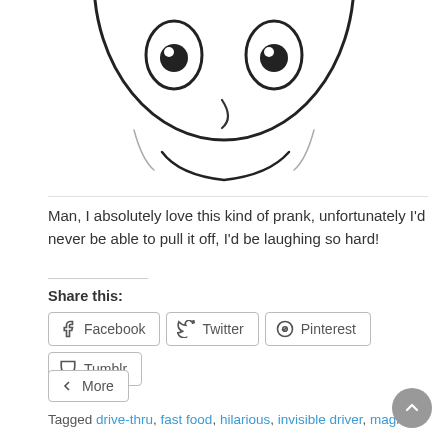[Figure (illustration): Cartoon smiley face with big eyes and a curved smile, black outlines on white background, bottom half of face visible]
Man, I absolutely love this kind of prank, unfortunately I'd never be able to pull it off, I'd be laughing so hard!
Share this:
Facebook  Twitter  Pinterest  Tumblr  More
Tagged drive-thru, fast food, hilarious, invisible driver, magician
Nerdtour 2012: It's just a matter of perspective...